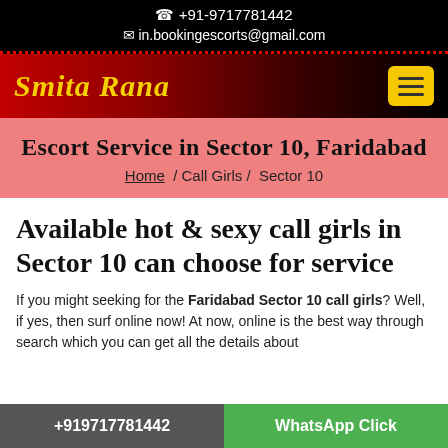☎ +91-9717781442
✉ in.bookingescorts@gmail.com
Smita Rana
Escort Service in Sector 10, Faridabad
Home / Call Girls / Sector 10
Available hot & sexy call girls in Sector 10 can choose for service
If you might seeking for the Faridabad Sector 10 call girls? Well, if yes, then surf online now! At now, online is the best way through search which you can get all the details about
+919717781442   WhatsApp Click